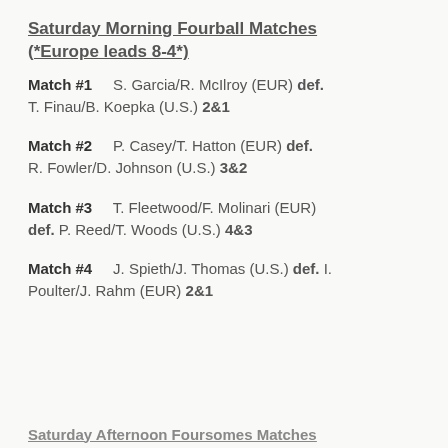Saturday Morning Fourball Matches (*Europe leads 8-4*)
Match #1   S. Garcia/R. McIlroy (EUR) def. T. Finau/B. Koepka (U.S.) 2&1
Match #2   P. Casey/T. Hatton (EUR) def. R. Fowler/D. Johnson (U.S.) 3&2
Match #3   T. Fleetwood/F. Molinari (EUR) def. P. Reed/T. Woods (U.S.) 4&3
Match #4   J. Spieth/J. Thomas (U.S.) def. I. Poulter/J. Rahm (EUR) 2&1
Saturday Afternoon Foursomes Matches